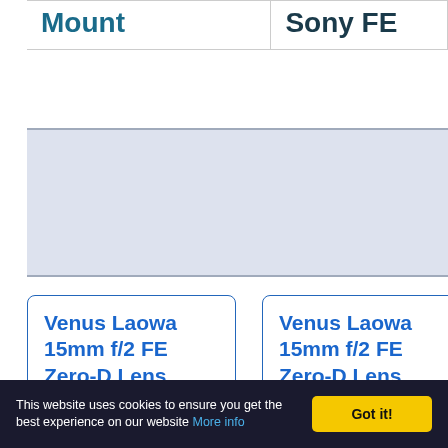| Mount | Sony FE |
| --- | --- |
[Figure (other): Advertisement banner placeholder with light blue-grey background]
Venus Laowa 15mm f/2 FE Zero-D Lens
Venus Laowa 15mm f/2 FE Zero-D Lens
This website uses cookies to ensure you get the best experience on our website More info Got it!